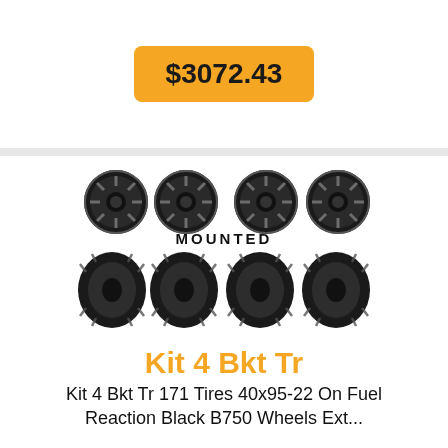$3072.43
[Figure (illustration): Four black alloy wheels in a row (top), text MOUNTED, four black agricultural/tractor tires in a row (bottom).]
Kit 4 Bkt Tr
Kit 4 Bkt Tr 171 Tires 40x95-22 On Fuel Reaction Black B750 Wheels Ext...